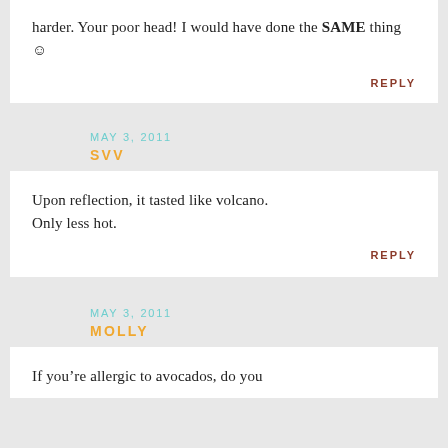harder. Your poor head! I would have done the SAME thing ☺
REPLY
MAY 3, 2011
SVV
Upon reflection, it tasted like volcano. Only less hot.
REPLY
MAY 3, 2011
MOLLY
If you're allergic to avocados, do you